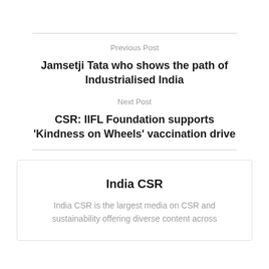Previous Post
Jamsetji Tata who shows the path of Industrialised India
Next Post
CSR: IIFL Foundation supports ‘Kindness on Wheels’ vaccination drive
India CSR
India CSR is the largest media on CSR and sustainability offering diverse content across